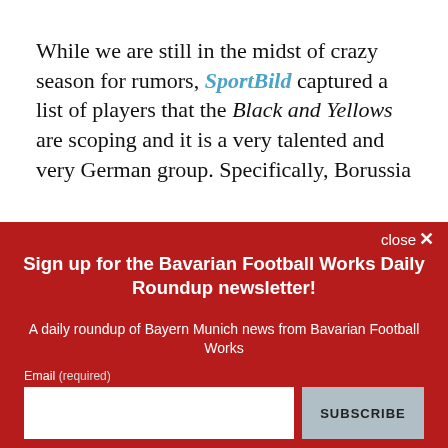While we are still in the midst of crazy season for rumors, SportBild captured a list of players that the Black and Yellows are scoping and it is a very talented and very German group. Specifically, Borussia Dortmund is targeting the players that…
close ×
Sign up for the Bavarian Football Works Daily Roundup newsletter!
A daily roundup of Bayern Munich news from Bavarian Football Works
Email (required)
SUBSCRIBE
By submitting your email, you agree to our Terms and Privacy Notice. You can opt out at any time. This site is protected by reCAPTCHA and the Google Privacy Policy and Terms of Service apply.